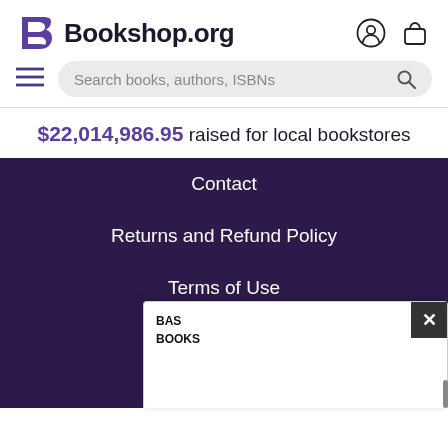Bookshop.org
Search books, authors, ISBNs
$22,014,986.95 raised for local bookstores
Contact
Returns and Refund Policy
Terms of Use
Privacy Notice
[Figure (screenshot): Partial popup overlay with BAS BOOKS text and close button]
BAS BOOKS